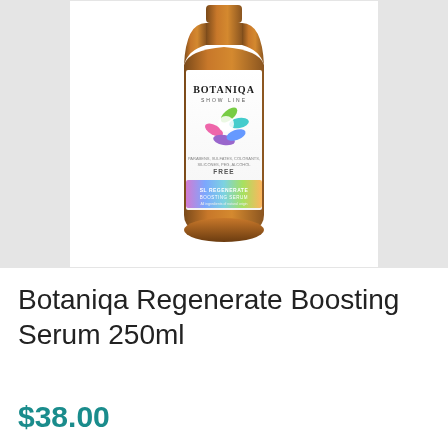[Figure (photo): A bottle of Botaniqa Show Line Regenerate Boosting Serum 250ml. The bottle has an amber/brown transparent body with a white label featuring colorful leaf designs in green, pink, purple, and blue. The label reads 'BOTANIQA SHOW LINE', 'PARABENS, SULFATES, COLORANTS, SILICONES, PEG, ALCOHOL FREE', 'SL REGENERATE BOOSTING SERUM', and 'All ingredients of natural origin'. The bottle sits against a white background within a light gray border.]
Botaniqa Regenerate Boosting Serum 250ml
$38.00